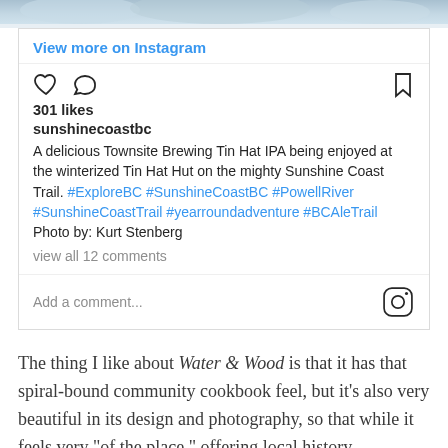[Figure (screenshot): Top edge of a snowy outdoor photo, partially visible at the top of the page]
View more on Instagram
301 likes
sunshinecoastbc
A delicious Townsite Brewing Tin Hat IPA being enjoyed at the winterized Tin Hat Hut on the mighty Sunshine Coast Trail. #ExploreBC #SunshineCoastBC #PowellRiver #SunshineCoastTrail #yearroundadventure #BCAleTrail Photo by: Kurt Stenberg
view all 12 comments
Add a comment...
The thing I like about Water & Wood is that it has that spiral-bound community cookbook feel, but it's also very beautiful in its design and photography, so that while it feels very "of the place," offering local history